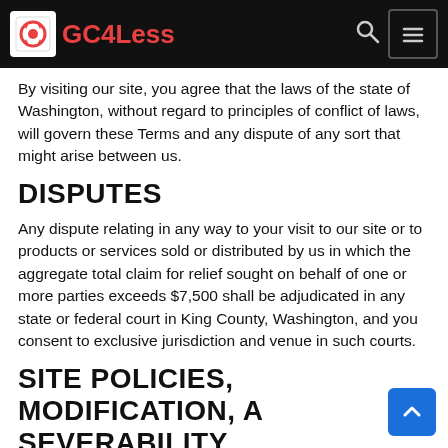GC4Less
By visiting our site, you agree that the laws of the state of Washington, without regard to principles of conflict of laws, will govern these Terms and any dispute of any sort that might arise between us.
DISPUTES
Any dispute relating in any way to your visit to our site or to products or services sold or distributed by us in which the aggregate total claim for relief sought on behalf of one or more parties exceeds $7,500 shall be adjudicated in any state or federal court in King County, Washington, and you consent to exclusive jurisdiction and venue in such courts.
SITE POLICIES, MODIFICATION, AND SEVERABILITY